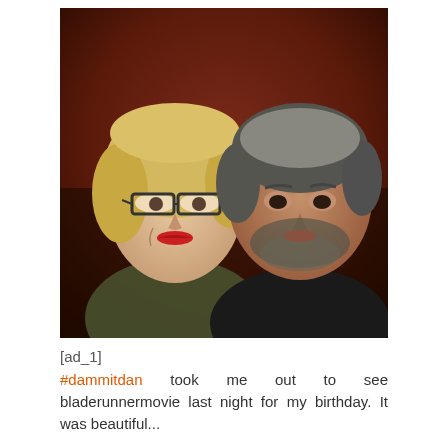[Figure (photo): A selfie photo of two people: a woman on the left with blonde hair, glasses, and red lipstick, and a man on the right with gray/dark hair and a beard, both against a dark reddish background.]
[ad_1]
#dammitdan took me out to see bladerunnermovie last night for my birthday. It was beautiful...